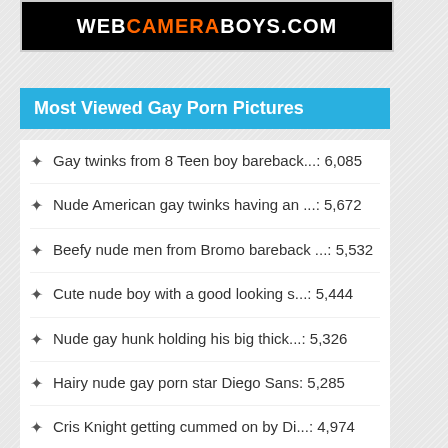[Figure (logo): Website banner/logo with text on black background]
Most Viewed Gay Porn Pictures
Gay twinks from 8 Teen boy bareback...: 6,085
Nude American gay twinks having an ...: 5,672
Beefy nude men from Bromo bareback ...: 5,532
Cute nude boy with a good looking s...: 5,444
Nude gay hunk holding his big thick...: 5,326
Hairy nude gay porn star Diego Sans: 5,285
Cris Knight getting cummed on by Di...: 4,974
Two nude boys from Belami with big ...: 4,899